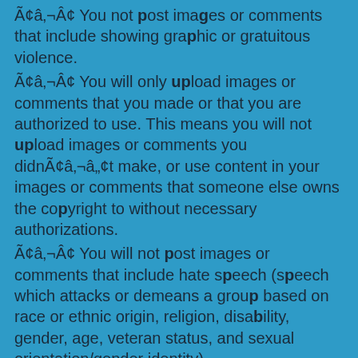Ã¢â‚¬Â¢ You not post images or comments that include showing graphic or gratuitous violence.
Ã¢â‚¬Â¢ You will only upload images or comments that you made or that you are authorized to use. This means you will not upload images or comments you didnÃ¢â‚¬â„¢t make, or use content in your images or comments that someone else owns the copyright to without necessary authorizations.
Ã¢â‚¬Â¢ You will not post images or comments that include hate speech (speech which attacks or demeans a group based on race or ethnic origin, religion, disability, gender, age, veteran status, and sexual orientation/gender identity).
Ã¢â‚¬Â¢ You will not post images or